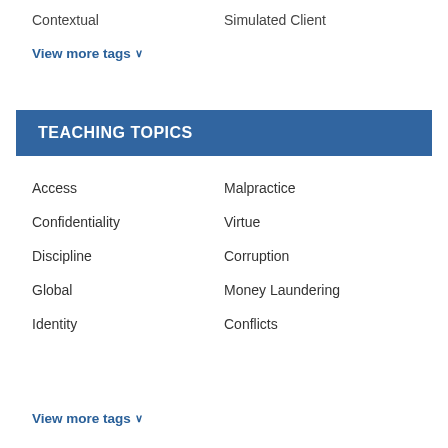Contextual    Simulated Client
View more tags ∨
TEACHING TOPICS
Access
Malpractice
Confidentiality
Virtue
Discipline
Corruption
Global
Money Laundering
Identity
Conflicts
View more tags ∨